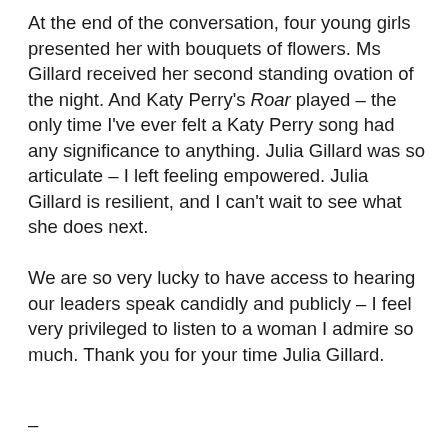At the end of the conversation, four young girls presented her with bouquets of flowers. Ms Gillard received her second standing ovation of the night. And Katy Perry's Roar played – the only time I've ever felt a Katy Perry song had any significance to anything. Julia Gillard was so articulate – I left feeling empowered. Julia Gillard is resilient, and I can't wait to see what she does next.
We are so very lucky to have access to hearing our leaders speak candidly and publicly – I feel very privileged to listen to a woman I admire so much. Thank you for your time Julia Gillard.
–